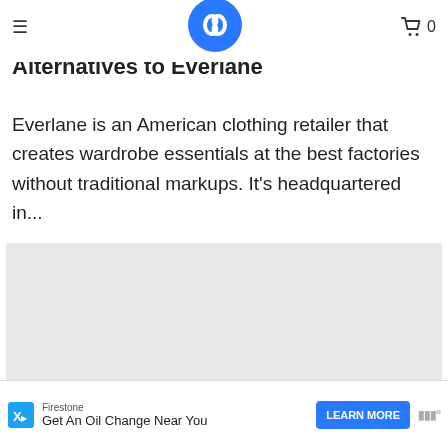≡  [logo]  🛒 0
Alternatives to Everlane
Everlane is an American clothing retailer that creates wardrobe essentials at the best factories without traditional markups. It's headquartered in...
[Figure (photo): Grey placeholder image area]
Firestone — Get An Oil Change Near You — LEARN MORE